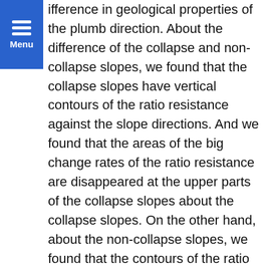Menu
ifference in geological properties of the plumb direction. About the difference of the collapse and non-collapse slopes, we found that the collapse slopes have vertical contours of the ratio resistance against the slope directions. And we found that the areas of the big change rates of the ratio resistance are disappeared at the upper parts of the collapse slopes about the collapse slopes. On the other hand, about the non-collapse slopes, we found that the contours of the ratio resistance were parallel with the slope directions and the area of the big change rates of the ratio resistance are continued at the upper parts of the slopes. The ratio resistance structure shows the structure of geological features. Because the contours of the ratio resistance of the collapse slopes are vertical, the geological structures of the collapse slopes are vertical and it is thought that